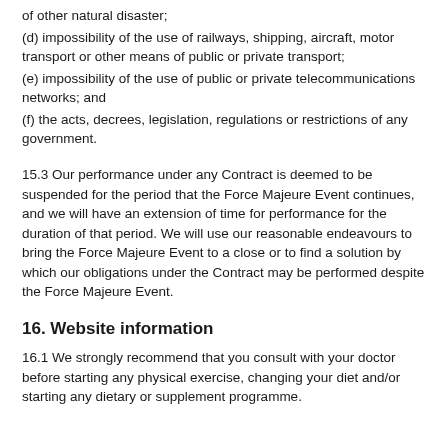or other natural disaster;
(d) impossibility of the use of railways, shipping, aircraft, motor transport or other means of public or private transport;
(e) impossibility of the use of public or private telecommunications networks; and
(f) the acts, decrees, legislation, regulations or restrictions of any government.
15.3 Our performance under any Contract is deemed to be suspended for the period that the Force Majeure Event continues, and we will have an extension of time for performance for the duration of that period. We will use our reasonable endeavours to bring the Force Majeure Event to a close or to find a solution by which our obligations under the Contract may be performed despite the Force Majeure Event.
16. Website information
16.1 We strongly recommend that you consult with your doctor before starting any physical exercise, changing your diet and/or starting any dietary or supplement programme.